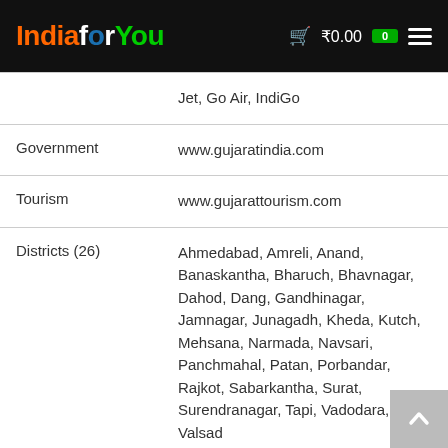IndiaforYou ₹0.00 0
|  | Jet, Go Air, IndiGo |
| Government | www.gujaratindia.com |
| Tourism | www.gujarattourism.com |
| Districts (26) | Ahmedabad, Amreli, Anand, Banaskantha, Bharuch, Bhavnagar, Dahod, Dang, Gandhinagar, Jamnagar, Junagadh, Kheda, Kutch, Mehsana, Narmada, Navsari, Panchmahal, Patan, Porbandar, Rajkot, Sabarkantha, Surat, Surendranagar, Tapi, Vadodara, Valsad |